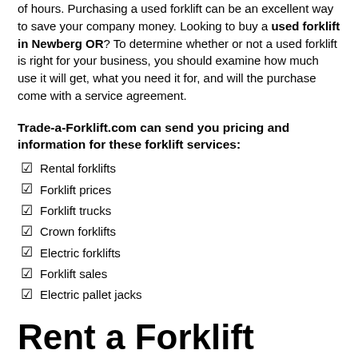of hours. Purchasing a used forklift can be an excellent way to save your company money. Looking to buy a used forklift in Newberg OR? To determine whether or not a used forklift is right for your business, you should examine how much use it will get, what you need it for, and will the purchase come with a service agreement.
Trade-a-Forklift.com can send you pricing and information for these forklift services:
Rental forklifts
Forklift prices
Forklift trucks
Crown forklifts
Electric forklifts
Forklift sales
Electric pallet jacks
Rent a Forklift Newberg OR